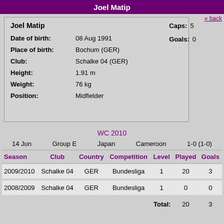Joel Matip
Joel Matip
Date of birth: 08 Aug 1991
Place of birth: Bochum (GER)
Club: Schalke 04 (GER)
Height: 1.91 m
Weight: 76 kg
Position: Midfielder
Caps: 5
Goals: 0
« back
WC 2010
14 Jun   Group E   Japan   Cameroon   1-0 (1-0)
| Season | Club | Country | Competition | Level | Played | Goals |
| --- | --- | --- | --- | --- | --- | --- |
| 2009/2010 | Schalke 04 | GER | Bundesliga | 1 | 20 | 3 |
| 2008/2009 | Schalke 04 | GER | Bundesliga | 1 | 0 | 0 |